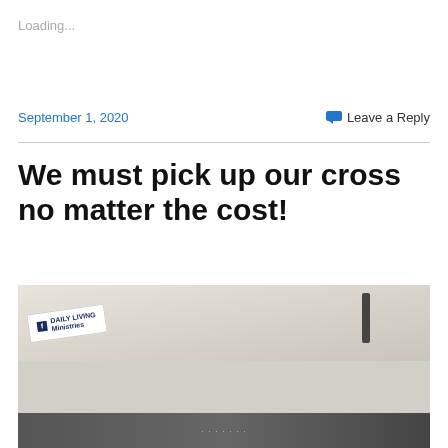Loading...
September 1, 2020
Leave a Reply
We must pick up our cross no matter the cost!
[Figure (photo): Black and white photo with a Daily Living Ministries logo card in the upper left and a dark cross or object visible at the top right]
Privacy & Cookies: This site uses cookies. By continuing to use this website, you agree to their use.
To find out more, including how to control cookies, see here: Cookie Policy
Close and accept